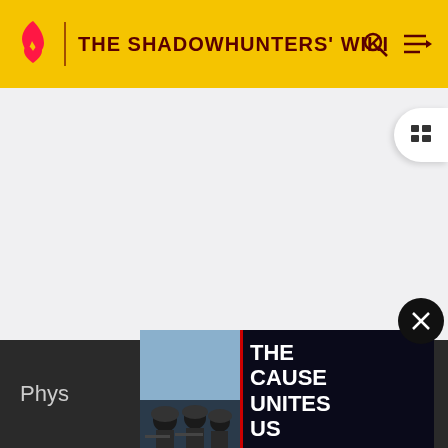THE SHADOWHUNTERS' WIKI
[Figure (screenshot): Gray empty main content area of a wiki page]
[Figure (infographic): US Marines advertisement banner: soldiers in military gear on left, text reading THE CAUSE UNITES US with LEARN MORE button and MARINES logo on right]
Phys